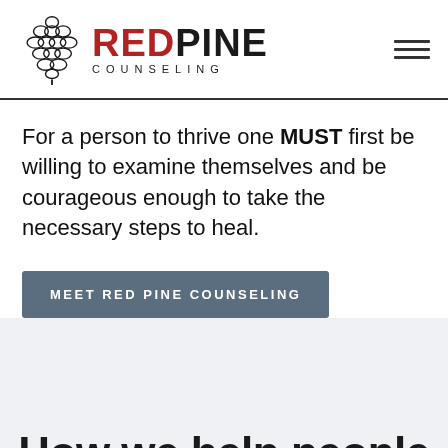[Figure (logo): Red Pine Counseling logo with pine cone icon on the left, 'REDPINE' in large bold text (RED in red, PINE in dark), 'COUNSELING' in spaced caps below, hamburger menu icon on the right]
For a person to thrive one MUST first be willing to examine themselves and be courageous enough to take the necessary steps to heal.
MEET RED PINE COUNSELING
How we help people